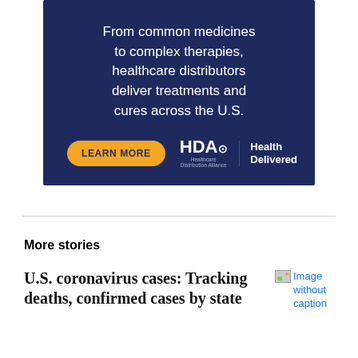[Figure (infographic): Dark navy blue advertisement banner for Healthcare Distribution Alliance (HDA). Text reads 'From common medicines to complex therapies, healthcare distributors deliver treatments and cures across the U.S.' with a yellow 'LEARN MORE' button and HDA Health Delivered logo.]
More stories
U.S. coronavirus cases: Tracking deaths, confirmed cases by state
[Figure (photo): Image without caption placeholder]